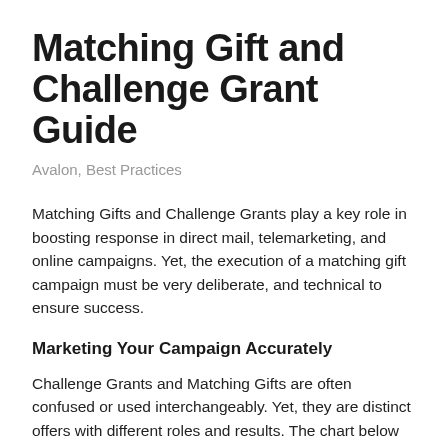Matching Gift and Challenge Grant Guide
Avalon, Best Practices
Matching Gifts and Challenge Grants play a key role in boosting response in direct mail, telemarketing, and online campaigns. Yet, the execution of a matching gift campaign must be very deliberate, and technical to ensure success.
Marketing Your Campaign Accurately
Challenge Grants and Matching Gifts are often confused or used interchangeably. Yet, they are distinct offers with different roles and results. The chart below defines the primary differences between these two types of donor incentive campaigns.